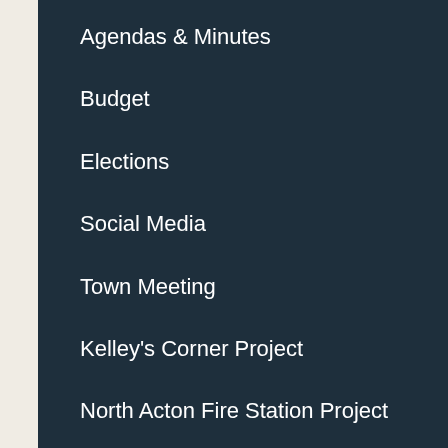Agendas & Minutes
Budget
Elections
Social Media
Town Meeting
Kelley's Corner Project
North Acton Fire Station Project
Licenses & Permits